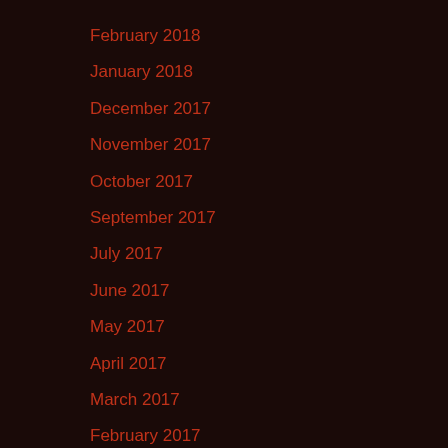February 2018
January 2018
December 2017
November 2017
October 2017
September 2017
July 2017
June 2017
May 2017
April 2017
March 2017
February 2017
January 2017
December 2016